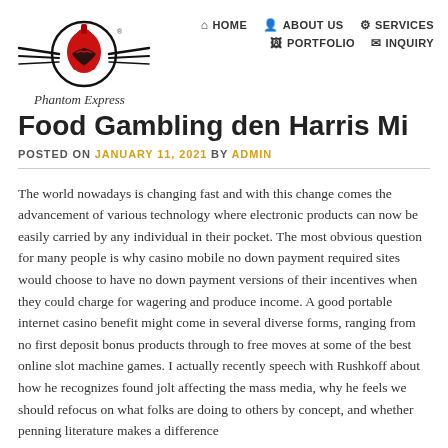[Figure (logo): Phantom Express logo: red spartan helmet inside a circle with wing-like lines, black and red colors]
HOME  ABOUT US  SERVICES  PORTFOLIO  INQUIRY
Food Gambling den Harris Mi
POSTED ON JANUARY 11, 2021 BY ADMIN
The world nowadays is changing fast and with this change comes the advancement of various technology where electronic products can now be easily carried by any individual in their pocket. The most obvious question for many people is why casino mobile no down payment required sites would choose to have no down payment versions of their incentives when they could charge for wagering and produce income. A good portable internet casino benefit might come in several diverse forms, ranging from no first deposit bonus products through to free moves at some of the best online slot machine games. I actually recently speech with Rushkoff about how he recognizes found jolt affecting the mass media, why he feels we should refocus on what folks are doing to others by concept, and whether penning literature makes a difference